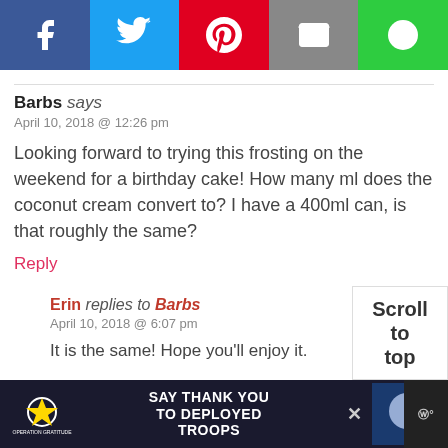[Figure (other): Social media share buttons bar: Facebook (blue), Twitter (light blue), Pinterest (red), Email (grey), other (green)]
Barbs says
April 10, 2018 @ 12:26 pm
Looking forward to trying this frosting on the weekend for a birthday cake! How many ml does the coconut cream convert to? I have a 400ml can, is that roughly the same?
Reply
Erin replies to Barbs
April 10, 2018 @ 6:07 pm
It is the same! Hope you'll enjoy it.
[Figure (other): Advertisement banner: Operation Gratitude - SAY THANK YOU TO DEPLOYED TROOPS]
Scroll to top